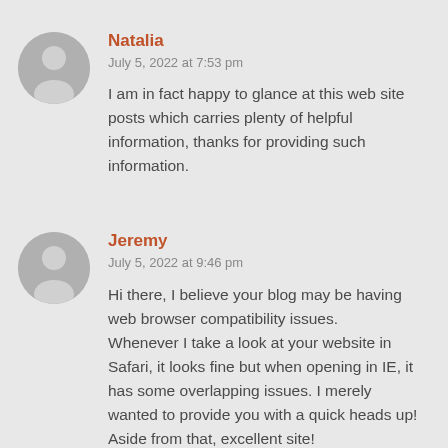[Figure (illustration): Gray circular avatar icon with silhouette of a person, for user Natalia]
Natalia
July 5, 2022 at 7:53 pm
I am in fact happy to glance at this web site posts which carries plenty of helpful information, thanks for providing such information.
[Figure (illustration): Gray circular avatar icon with silhouette of a person, for user Jeremy]
Jeremy
July 5, 2022 at 9:46 pm
Hi there, I believe your blog may be having web browser compatibility issues.
Whenever I take a look at your website in Safari, it looks fine but when opening in IE, it has some overlapping issues. I merely wanted to provide you with a quick heads up! Aside from that, excellent site!